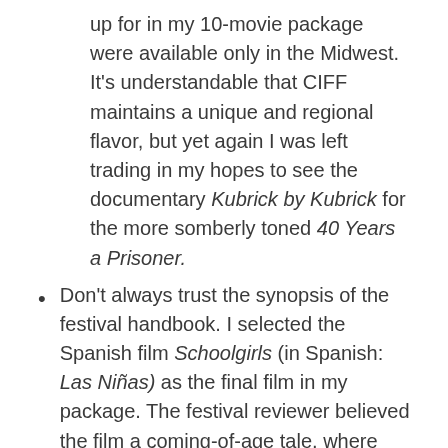up for in my 10-movie package were available only in the Midwest. It's understandable that CIFF maintains a unique and regional flavor, but yet again I was left trading in my hopes to see the documentary Kubrick by Kubrick for the more somberly toned 40 Years a Prisoner.
Don't always trust the synopsis of the festival handbook. I selected the Spanish film Schoolgirls (in Spanish: Las Niñas) as the final film in my package. The festival reviewer believed the film a coming-of-age tale, where the principal character grows out of her Catholic-school upbringing.
After viewing the film, I came away with a